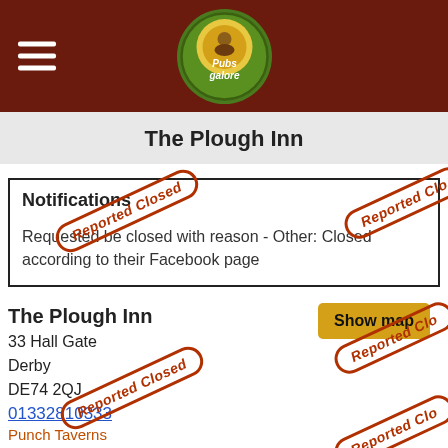Pubs Galore
The Plough Inn
Notifications
Requested be closed with reason - Other: Closed according to their Facebook page
The Plough Inn
33 Hall Gate
Derby
DE74 2QJ
01332810333
Punch Taverns
Photos
[Figure (photo): Exterior photo of The Plough Inn pub building]